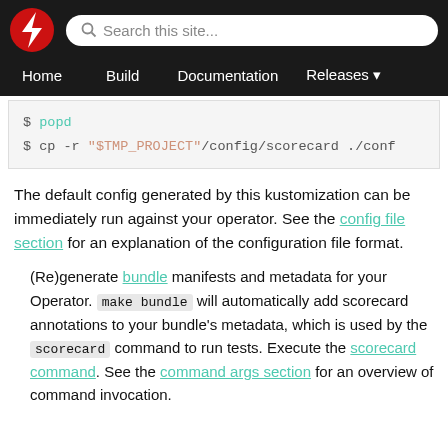Home  Build  Documentation  Releases
[Figure (screenshot): Code block showing shell commands: $ popd and $ cp -r "$TMP_PROJECT"/config/scorecard ./conf]
The default config generated by this kustomization can be immediately run against your operator. See the config file section for an explanation of the configuration file format.
(Re)generate bundle manifests and metadata for your Operator. make bundle will automatically add scorecard annotations to your bundle's metadata, which is used by the scorecard command to run tests. Execute the scorecard command. See the command args section for an overview of command invocation.